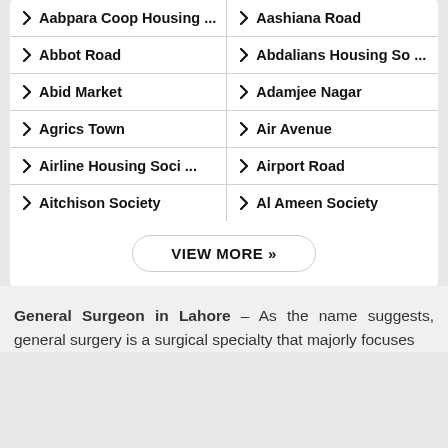Aabpara Coop Housing ...
Aashiana Road
Abbot Road
Abdalians Housing So ...
Abid Market
Adamjee Nagar
Agrics Town
Air Avenue
Airline Housing Soci ...
Airport Road
Aitchison Society
Al Ameen Society
VIEW MORE »
General Surgeon in Lahore – As the name suggests, general surgery is a surgical specialty that majorly focuses